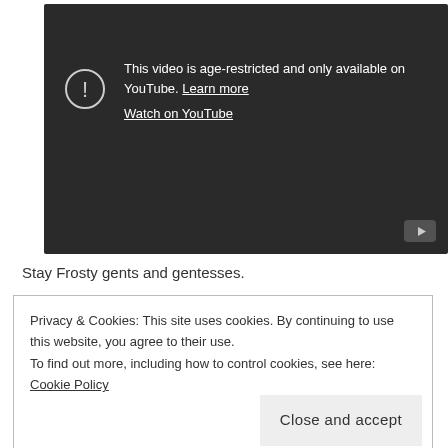[Figure (screenshot): YouTube embedded video player showing age-restriction message on dark background. Warning icon (circle with exclamation mark) on left. Text reads: 'This video is age-restricted and only available on YouTube. Learn more' with 'Watch on YouTube' link below. YouTube logo button in bottom-right corner.]
Stay Frosty gents and gentesses.
Privacy & Cookies: This site uses cookies. By continuing to use this website, you agree to their use.
To find out more, including how to control cookies, see here: Cookie Policy
Close and accept